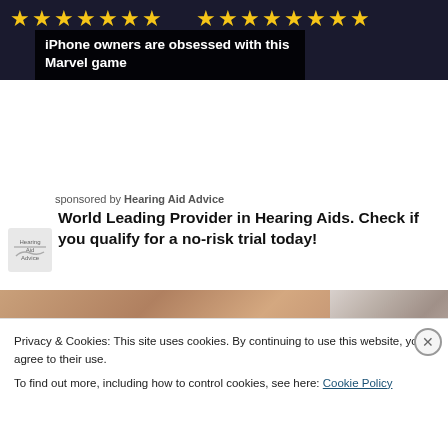[Figure (screenshot): Dark banner with yellow stars and Marvel game advertisement overlay text]
iPhone owners are obsessed with this Marvel game
sponsored by Hearing Aid Advice
World Leading Provider in Hearing Aids. Check if you qualify for a no-risk trial today!
[Figure (photo): Two partial photos side by side, left showing warm skin tones, right showing grey textured background]
Privacy & Cookies: This site uses cookies. By continuing to use this website, you agree to their use.
To find out more, including how to control cookies, see here: Cookie Policy